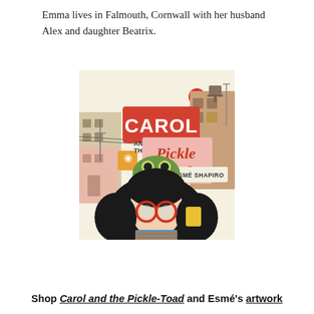Emma lives in Falmouth, Cornwall with her husband Alex and daughter Beatrix.
[Figure (illustration): Book cover illustration for 'Carol and the Pickle Toad' by Esmé Shapiro. Shows a girl with dark hair and red glasses with a green toad sitting on her head, set against a colorful city background with signs reading 'Carol and the Pickle Toad' and 'Esmé Shapiro'.]
Shop Carol and the Pickle-Toad and Esmé's artwork